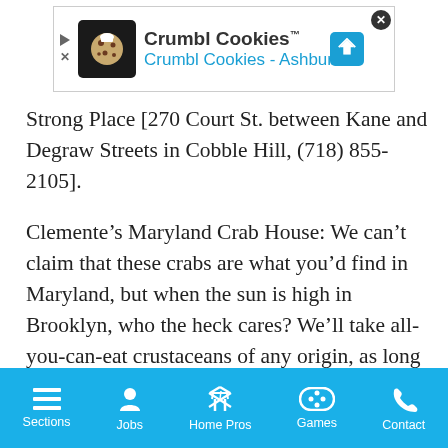[Figure (screenshot): Crumbl Cookies advertisement banner with logo, name, and Ashburn subtitle]
Strong Place [270 Court St. between Kane and Degraw Streets in Cobble Hill, (718) 855-2105].
Clemente’s Maryland Crab House: We can’t claim that these crabs are what you’d find in Maryland, but when the sun is high in Brooklyn, who the heck cares? We’ll take all-you-can-eat crustaceans of any origin, as long as we can hit them with a hammer and follow them up with a bucket of Coronas. A bayside tiki bar and outdoor lounge overlook the Venice marina — Chesapeake Bay it ain’t, but any place with a waterfront view gets a major pass.
Clemente’s Maryland Crabhouse [3939 Emmons Ave. off Shore
Sections  Jobs  Home Pros  Games  Contact